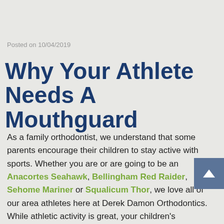Posted on 10/04/2019
Why Your Athlete Needs A Mouthguard
As a family orthodontist, we understand that some parents encourage their children to stay active with sports. Whether you are or are going to be an Anacortes Seahawk, Bellingham Red Raider, Sehome Mariner or Squalicum Thor, we love all of our area athletes here at Derek Damon Orthodontics. While athletic activity is great, your children's orthodontist wants to make sure you and your child understand the importance of athletes wearing a mouthguard